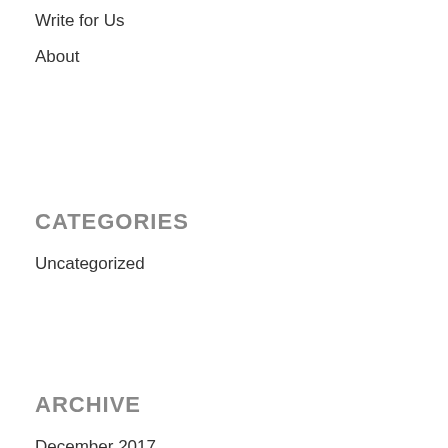Write for Us
About
CATEGORIES
Uncategorized
ARCHIVE
December 2017
November 2017
August 2016
July 2016